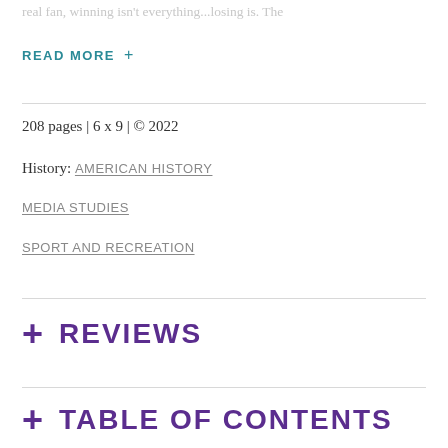real fan, winning isn't everything...losing is. The
READ MORE +
208 pages | 6 x 9 | © 2022
History: AMERICAN HISTORY
MEDIA STUDIES
SPORT AND RECREATION
+ REVIEWS
+ TABLE OF CONTENTS